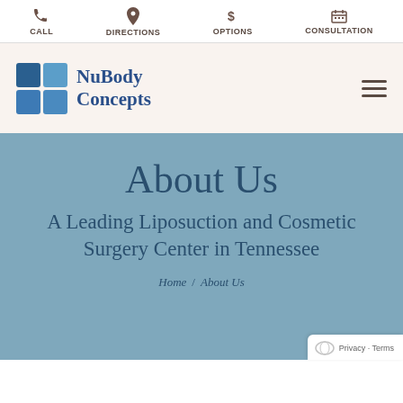CALL | DIRECTIONS | OPTIONS | CONSULTATION
[Figure (logo): NuBody Concepts logo with four blue squares in a 2x2 grid and text 'NuBody Concepts']
About Us
A Leading Liposuction and Cosmetic Surgery Center in Tennessee
Home / About Us